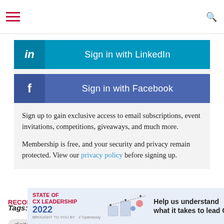[Figure (screenshot): Sign in with LinkedIn button (teal/blue background with 'in' icon on left)]
[Figure (screenshot): Sign in with Facebook button (blue background with 'f' icon on left)]
Sign up to gain exclusive access to email subscriptions, event invitations, competitions, giveaways, and much more.
Membership is free, and your security and privacy remain protected. View our privacy policy before signing up.
Tags:  digital marketing   customer experience management
digital strategy   chief digital officer
[Figure (infographic): State of CX Leadership 2022 banner ad by Optimizely — Help us understand what it takes to lead CX]